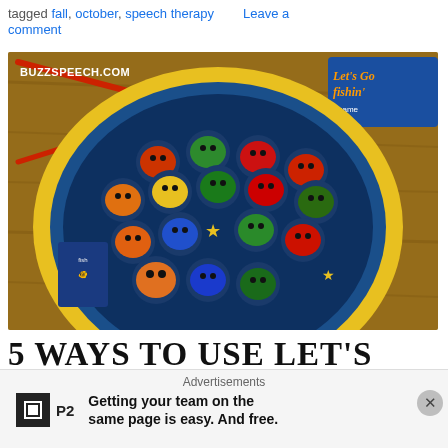tagged fall, october, speech therapy    Leave a comment
[Figure (photo): Let's Go Fishin' board game with colorful fish pieces on a round blue rotating platform with yellow rim, showing the BUZZSPEECH.COM watermark]
5 WAYS TO USE LET'S GO FISHIN' GAME FOR SPEECH
Advertisements
Getting your team on the same page is easy. And free.